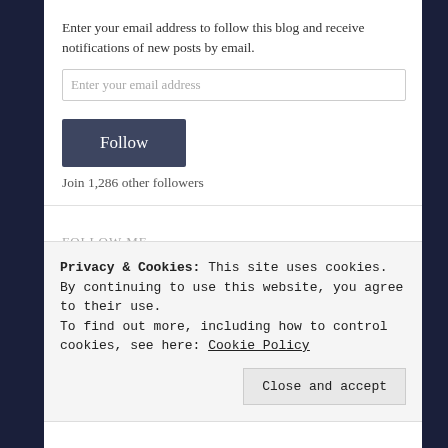Enter your email address to follow this blog and receive notifications of new posts by email.
Enter your email address
Follow
Join 1,286 other followers
FOLLOW ME
Privacy & Cookies: This site uses cookies. By continuing to use this website, you agree to their use.
To find out more, including how to control cookies, see here: Cookie Policy
Close and accept